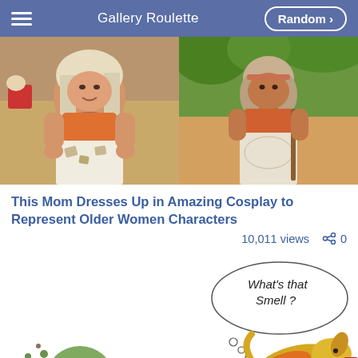Gallery Roulette   Random >
[Figure (photo): Two side-by-side photos of an older woman in Moana cosplay costume]
This Mom Dresses Up in Amazing Cosplay to Represent Older Women Characters
10,011 views   0
[Figure (illustration): Cartoon illustration of a green zombie-like creature and a yellow dog with a thought bubble saying 'What's that smell?']